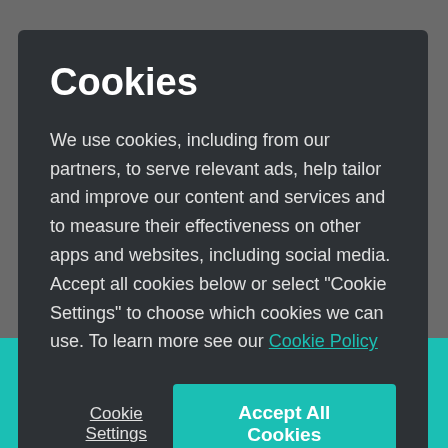Cookies
We use cookies, including from our partners, to serve relevant ads, help tailor and improve our content and services and to measure their effectiveness on other apps and websites, including social media. Accept all cookies below or select “Cookie Settings” to choose which cookies we can use. To learn more see our Cookie Policy
Cookie Settings
Accept All Cookies
This place is currently closed. Check back during business hours to place an order.
View menu